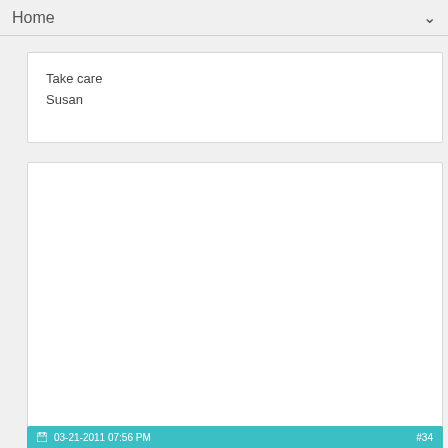Home
Take care
Susan
03-21-2011 07:56 PM   #34